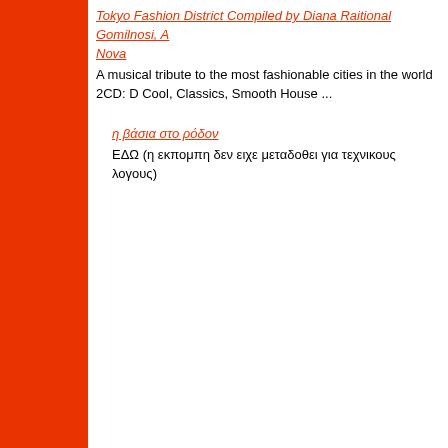Tokyo Fashion District Compiled by Diana Raitional Gomilnosi, A Nova
A musical tribute to the most fashionable cities in the world 2CD: D Cool, Classics, Smooth House ...
η βάσια στο ρόδον
ΕΔΩ (η εκπομπη δεν ειχε μεταδοθει για τεχνικους λογους)